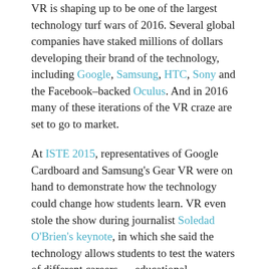VR is shaping up to be one of the largest technology turf wars of 2016. Several global companies have staked millions of dollars developing their brand of the technology, including Google, Samsung, HTC, Sony and the Facebook–backed Oculus. And in 2016 many of these iterations of the VR craze are set to go to market.
At ISTE 2015, representatives of Google Cardboard and Samsung's Gear VR were on hand to demonstrate how the technology could change how students learn. VR even stole the show during journalist Soledad O'Brien's keynote, in which she said the technology allows students to test the waters of different careers — educational experiences that could alter the trajectory of their studies and their lives.
The immersive power of this technology has also caught the eye of Jon Phillips, managing director of strategy for worldwide education at Dell. Phillips tells EdTech that experiential learning can teach complex problems in a